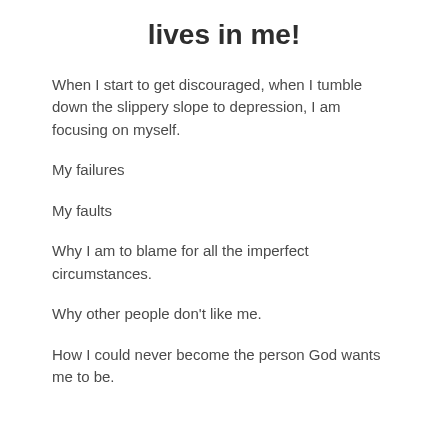lives in me!
When I start to get discouraged, when I tumble down the slippery slope to depression, I am focusing on myself.
My failures
My faults
Why I am to blame for all the imperfect circumstances.
Why other people don't like me.
How I could never become the person God wants me to be.